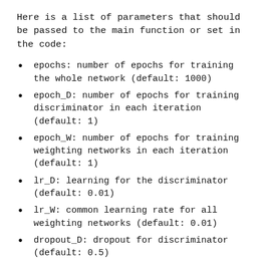Here is a list of parameters that should be passed to the main function or set in the code:
epochs: number of epochs for training the whole network (default: 1000)
epoch_D: number of epochs for training discriminator in each iteration (default: 1)
epoch_W: number of epochs for training weighting networks in each iteration (default: 1)
lr_D: learning for the discriminator (default: 0.01)
lr_W: common learning rate for all weighting networks (default: 0.01)
dropout_D: dropout for discriminator (default: 0.5)